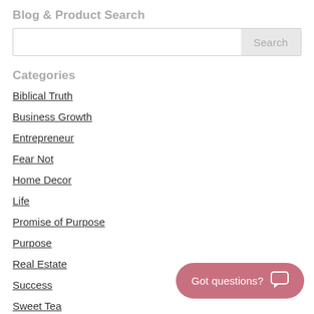Blog & Product Search
Search box UI element
Categories
Biblical Truth
Business Growth
Entrepreneur
Fear Not
Home Decor
Life
Promise of Purpose
Purpose
Real Estate
Success
Sweet Tea
Uncategorized